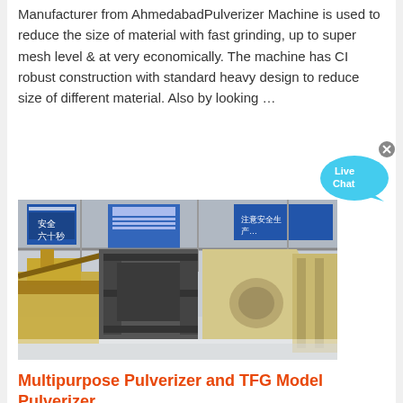Manufacturer from AhmedabadPulverizer Machine is used to reduce the size of material with fast grinding, up to super mesh level & at very economically. The machine has CI robust construction with standard heavy design to reduce size of different material. Also by looking …
[Figure (photo): Industrial pulverizer/crusher machinery in a large factory setting with blue signage in Chinese, showing heavy equipment including conveyor and crusher units.]
[Figure (other): Live Chat bubble icon in cyan/light blue color with 'Live Chat' text and an X close button.]
Multipurpose Pulverizer and TFG Model Pulverizer